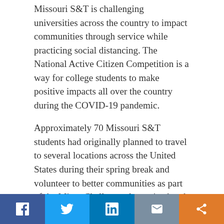Missouri S&T is challenging universities across the country to impact communities through service while practicing social distancing. The National Active Citizen Competition is a way for college students to make positive impacts all over the country during the COVID-19 pandemic.
Approximately 70 Missouri S&T students had originally planned to travel to several locations across the United States during their spring break and volunteer to better communities as part of the Miner Challenge alternative break program, but the spread of COVID-19 canceled those plans.
Now, new plans are in the works to continue Miner Challenge by taking on local service work at students' individual locations while distance learning through the university. Missouri S&T's Miner Challenge coordinators are challenging universities across the country to do the same.
The competition will begin Monday, March 30, with students planning their own service projects that can be done from
Facebook | Twitter | LinkedIn | Email | Share